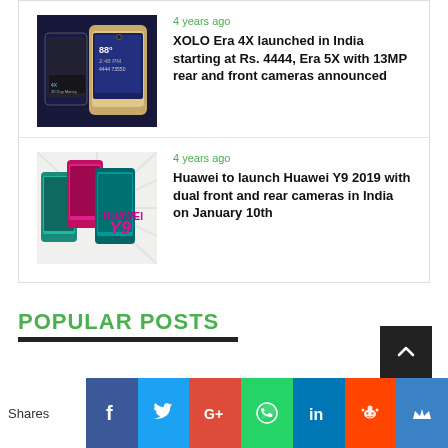4 years ago
XOLO Era 4X launched in India starting at Rs. 4444, Era 5X with 13MP rear and front cameras announced
[Figure (photo): XOLO Era 4X smartphone product photo showing two phones against dark background]
4 years ago
Huawei to launch Huawei Y9 2019 with dual front and rear cameras in India on January 10th
[Figure (photo): Huawei Y9 2019 smartphone product photo with colorful phones and Huawei Y9 branding]
POPULAR POSTS
Shares